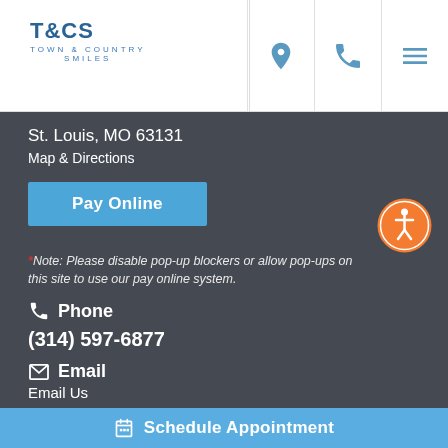T&CS TOWN & COUNTRY SMILES
St. Louis, MO 63131
Map & Directions
Pay Online
*Note: Please disable pop-up blockers or allow pop-ups on this site to use our pay online system.
Phone
(314) 597-6877
Email
Email Us
Schedule Appointment